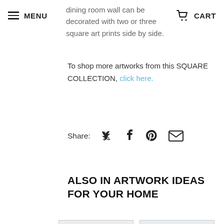MENU   CART
dining room wall can be decorated with two or three square art prints side by side.
To shop more artworks from this SQUARE COLLECTION, click here.
Share:
ALSO IN ARTWORK IDEAS FOR YOUR HOME
[Figure (photo): Thumbnail images of related blog posts about artwork ideas for the home, with a circular icon overlay on the left image]